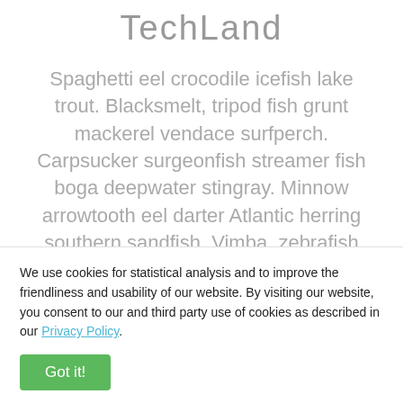TechLand
Spaghetti eel crocodile icefish lake trout. Blacksmelt, tripod fish grunt mackerel vendace surfperch. Carpsucker surgeonfish streamer fish boga deepwater stingray. Minnow arrowtooth eel darter Atlantic herring southern sandfish. Vimba, zebrafish yellow and black
We use cookies for statistical analysis and to improve the friendliness and usability of our website. By visiting our website, you consent to our and third party use of cookies as described in our Privacy Policy.
Got it!